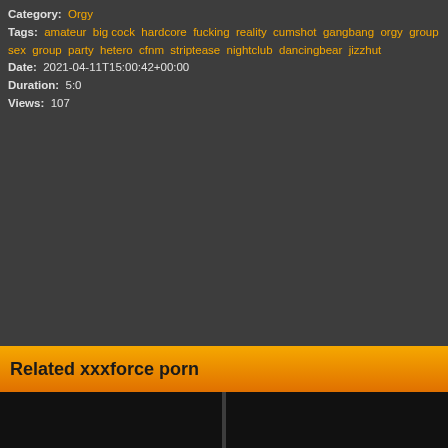Category: Orgy
Tags: amateur big cock hardcore fucking reality cumshot gangbang orgy group sex group party hetero cfnm striptease nightclub dancingbear jizzhut
Date: 2021-04-11T15:00:42+00:00
Duration: 5:0
Views: 107
Related xxxforce porn
[Figure (photo): Two thumbnail images at the bottom of the page]